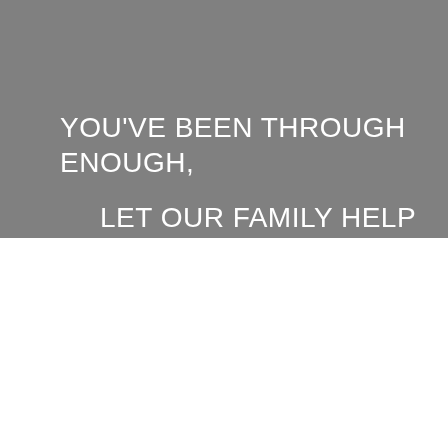YOU'VE BEEN THROUGH ENOUGH, LET OUR FAMILY HELP YOUR FAMILY
Pelham, AL Water Damage Restoration Services Fire Damage & Mold Remediation Experts